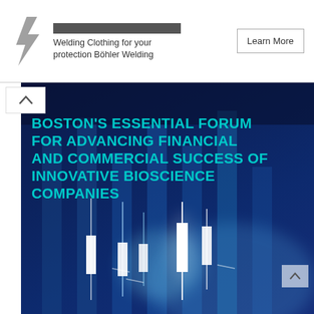[Figure (advertisement): Ad banner with logo of a welding brand (stylized lightning bolt/arrow), text 'Welding Clothing for your protection Böhler Welding' and a 'Learn More' button]
[Figure (illustration): Dark blue background with glowing candlestick chart financial graphics and overlay text: BOSTON'S ESSENTIAL FORUM FOR ADVANCING FINANCIAL AND COMMERCIAL SUCCESS OF INNOVATIVE BIOSCIENCE COMPANIES]
BOSTON'S ESSENTIAL FORUM FOR ADVANCING FINANCIAL AND COMMERCIAL SUCCESS OF INNOVATIVE BIOSCIENCE COMPANIES